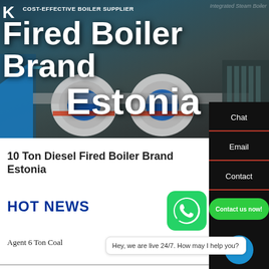[Figure (photo): Hero banner with industrial boiler equipment in dark industrial setting, with white overlay text showing 'Fired Boiler Brand Estonia' and company logo and tagline 'COST-EFFECTIVE BOILER SUPPLIER']
Fired Boiler Brand Estonia
10 Ton Diesel Fired Boiler Brand Estonia
HOT NEWS
Agent 6 Ton Coal
Chat
Email
Contact
Hey, we are live 24/7. How may I help you?
Contact us now!